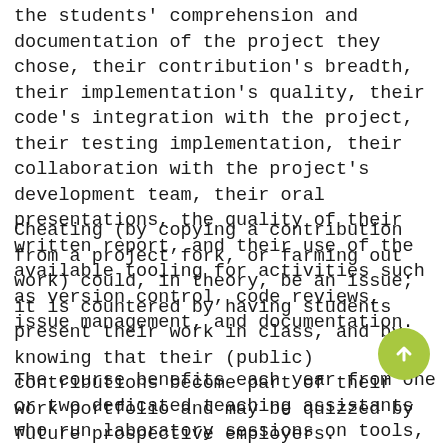the students' comprehension and documentation of the project they chose, their contribution's breadth, their implementation's quality, their code's integration with the project, their testing implementation, their collaboration with the project's development team, their oral presentations, the quality of their written report, and their use of the available tooling for activities such as version control, code reviews, issue management, and documentation.
Cheating (by copying a contribution from a project fork, or farming out work) could, in theory, be an issue; it is countered by having students present their work in class, and by knowing that their (public) contributions become part of their work portfolio and may be quizzed by future prospective employers.
The course benefits each year from one or two dedicated teaching assistants who run laboratory sessions on tools, and are available during office hours to advise the students on difficulties they invariably face. The hard